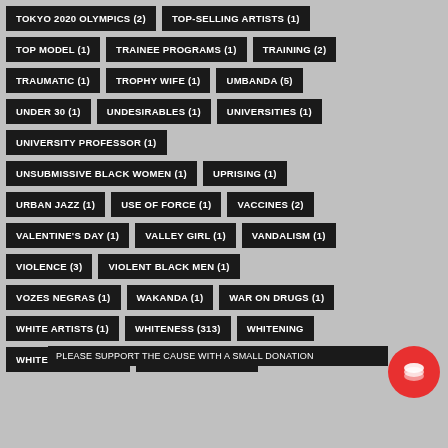TOKYO 2020 OLYMPICS (2)
TOP-SELLING ARTISTS (1)
TOP MODEL (1)
TRAINEE PROGRAMS (1)
TRAINING (2)
TRAUMATIC (1)
TROPHY WIFE (1)
UMBANDA (5)
UNDER 30 (1)
UNDESIRABLES (1)
UNIVERSITIES (1)
UNIVERSITY PROFESSOR (1)
UNSUBMISSIVE BLACK WOMEN (1)
UPRISING (1)
URBAN JAZZ (1)
USE OF FORCE (1)
VACCINES (2)
VALENTINE'S DAY (1)
VALLEY GIRL (1)
VANDALISM (1)
VIOLENCE (3)
VIOLENT BLACK MEN (1)
VOZES NEGRAS (1)
WAKANDA (1)
WAR ON DRUGS (1)
WHITE ARTISTS (1)
WHITENESS (313)
WHITENING
PLEASE SUPPORT THE CAUSE WITH A SMALL DONATION
WHITE PARTNERS (1)
WHITE PRINCESS (1)